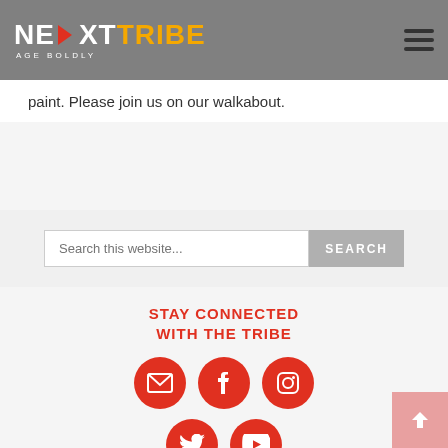NEXTTRIBE AGE BOLDLY
paint. Please join us on our walkabout.
[Figure (screenshot): Search bar with placeholder text 'Search this website...' and a grey SEARCH button]
STAY CONNECTED WITH THE TRIBE
[Figure (infographic): Five red circular social media icons: email, Facebook, Instagram, Twitter, YouTube]
[Figure (other): Pink back-to-top arrow button in bottom right corner]